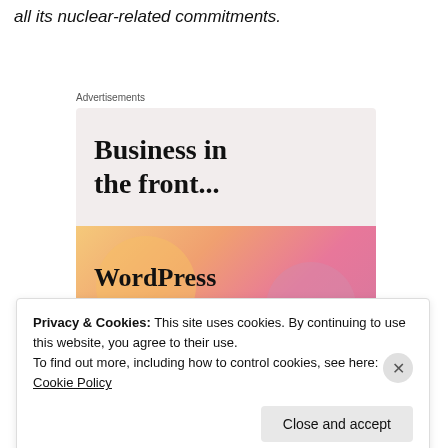all its nuclear-related commitments.
Advertisements
[Figure (screenshot): WordPress advertisement banner. Top half shows 'Business in the front...' on a light beige background. Bottom half shows 'WordPress in the back.' on a colorful gradient background with circular blob shapes in orange, pink, and lavender.]
Privacy & Cookies: This site uses cookies. By continuing to use this website, you agree to their use.
To find out more, including how to control cookies, see here: Cookie Policy
Close and accept